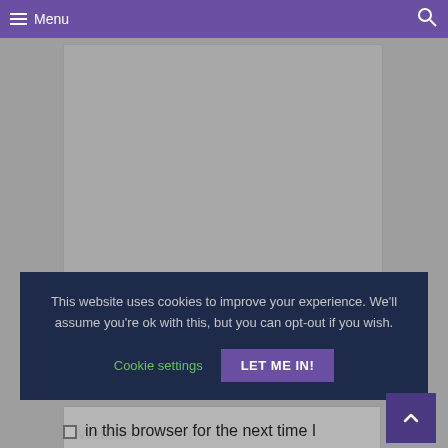Menu
[Figure (screenshot): Gray content area placeholder]
This website uses cookies to improve your experience. We'll assume you're ok with this, but you can opt-out if you wish.
Cookie settings  LET ME IN!
Email *
Website
Save my name, email, and website in this browser for the next time I